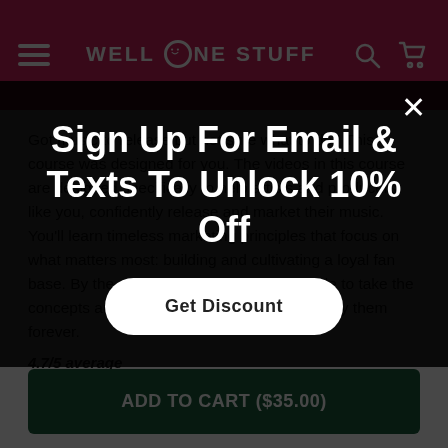WELL DONE STUFF
Got music to release but not sure what to do? This course was designed for you. The videos in this course are designed specifically to help artists and producers like you, confidently release and market their music. You'll learn timeless marketing principles that focus on what matters most: building and cultivating a loyal fan base. By the end of the course, you'll be able to take the concepts and strategies you learned and apply them forever.
4.7/5 average
Add [bullet item text partially obscured]
Learn tips for building a release strategy
Organize a release in Trello
[Figure (other): Sign Up For Email & Texts To Unlock 10% Off overlay modal with Get Discount button and close X button]
ADD TO CART ($35.00)